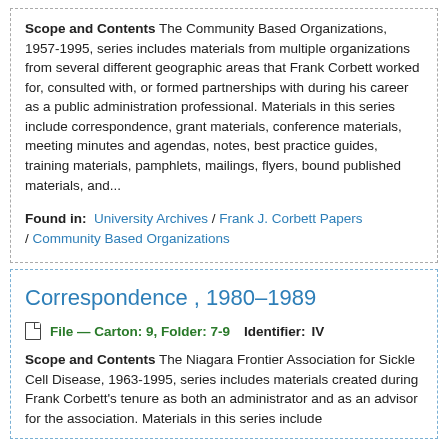Scope and Contents The Community Based Organizations, 1957-1995, series includes materials from multiple organizations from several different geographic areas that Frank Corbett worked for, consulted with, or formed partnerships with during his career as a public administration professional. Materials in this series include correspondence, grant materials, conference materials, meeting minutes and agendas, notes, best practice guides, training materials, pamphlets, mailings, flyers, bound published materials, and...
Found in: University Archives / Frank J. Corbett Papers / Community Based Organizations
Correspondence , 1980-1989
File — Carton: 9, Folder: 7-9  Identifier: IV
Scope and Contents The Niagara Frontier Association for Sickle Cell Disease, 1963-1995, series includes materials created during Frank Corbett's tenure as both an administrator and as an advisor for the association. Materials in this series include